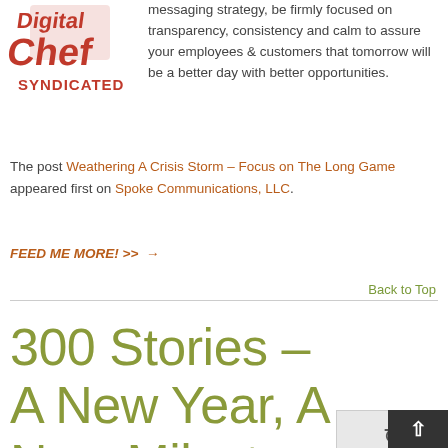[Figure (logo): Digital Chef Syndicated logo with orange/brown text and chef hat graphic]
messaging strategy, be firmly focused on transparency, consistency and calm to assure your employees & customers that tomorrow will be a better day with better opportunities.
The post Weathering A Crisis Storm – Focus on The Long Game appeared first on Spoke Communications, LLC.
FEED ME MORE! >> →
Back to Top
300 Stories – A New Year, A New Milestone